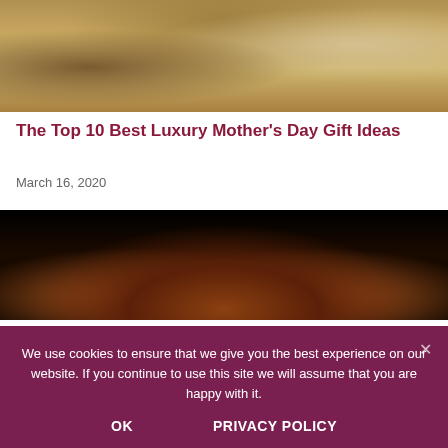[Figure (photo): Luxury bedroom interior with warm golden tones, featuring a sofa, bed, and decorative furniture]
The Top 10 Best Luxury Mother’s Day Gift Ideas
March 16, 2020
[Figure (photo): Dark image of a luxury car viewed from behind, dimly lit with warm accent lighting]
We use cookies to ensure that we give you the best experience on our website. If you continue to use this site we will assume that you are happy with it.
OK    PRIVACY POLICY